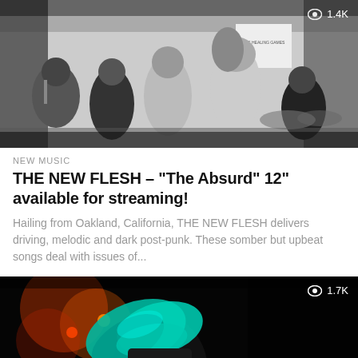[Figure (photo): Black and white photo of band THE NEW FLESH performing, multiple members visible including singers and drummer, in a small venue with posters on wall. View count overlay: 1.4K]
NEW MUSIC
THE NEW FLESH – "The Absurd" 12" available for streaming!
Hailing from Oakland, California, THE NEW FLESH delivers driving, melodic and dark post-punk. These somber but upbeat songs deal with issues of...
[Figure (photo): Dark concert photo with performer with long teal/green hair lit by orange/red stage lights, against black background. View count overlay: 1.7K]